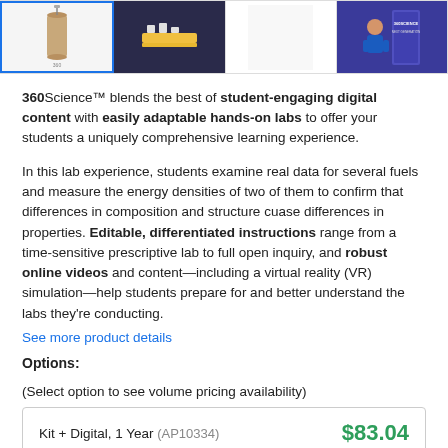[Figure (photo): Four product thumbnail images in a row. First image shows a glass/cylinder lab item on white background with blue border. Second shows lab equipment on a dark background. Third is a blank/white image. Fourth shows a man in a blue shirt next to a book cover on purple background.]
360Science™ blends the best of student-engaging digital content with easily adaptable hands-on labs to offer your students a uniquely comprehensive learning experience.
In this lab experience, students examine real data for several fuels and measure the energy densities of two of them to confirm that differences in composition and structure cuase differences in properties. Editable, differentiated instructions range from a time-sensitive prescriptive lab to full open inquiry, and robust online videos and content—including a virtual reality (VR) simulation—help students prepare for and better understand the labs they're conducting.
See more product details
Options:
(Select option to see volume pricing availability)
| Product | Price |
| --- | --- |
| Kit + Digital, 1 Year (AP10334) | $83.04 |